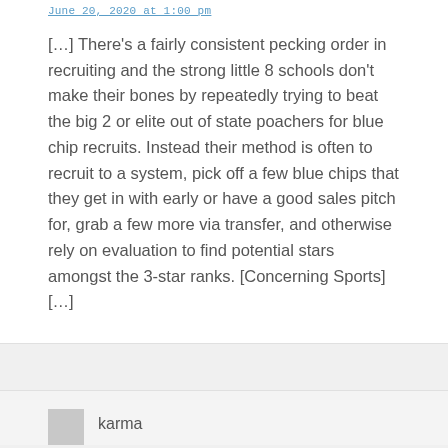June 20, 2020 at 1:00 pm
[…] There's a fairly consistent pecking order in recruiting and the strong little 8 schools don't make their bones by repeatedly trying to beat the big 2 or elite out of state poachers for blue chip recruits. Instead their method is often to recruit to a system, pick off a few blue chips that they get in with early or have a good sales pitch for, grab a few more via transfer, and otherwise rely on evaluation to find potential stars amongst the 3-star ranks. [Concerning Sports] […]
karma